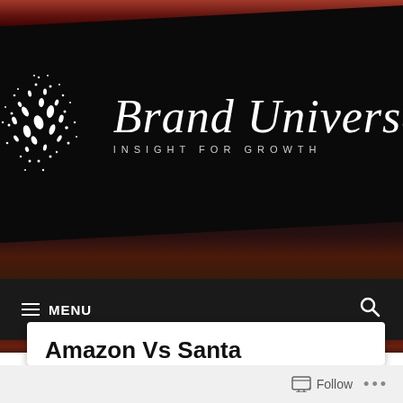[Figure (logo): Brand Universe logo: white dot/particle burst sphere on dark background with script text 'Brand Universe' and tagline 'INSIGHT FOR GROWTH']
≡ MENU    🔍
Amazon Vs Santa
Follow  •••